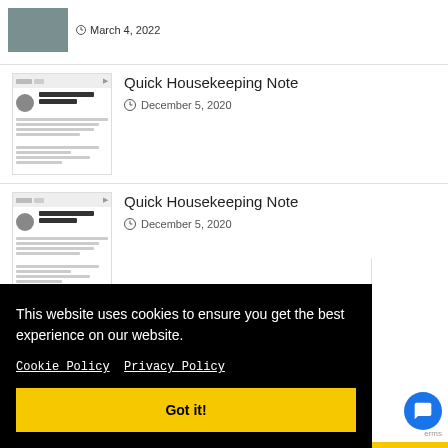March 4, 2022
[Figure (screenshot): Thumbnail preview of an article dated March 4, 2022]
Quick Housekeeping Note
December 5, 2020
[Figure (screenshot): Thumbnail preview of an article]
Quick Housekeeping Note
December 5, 2020
[Figure (screenshot): Thumbnail preview of an article]
This website uses cookies to ensure you get the best experience on our website.
Cookie Policy   Privacy Policy
Got it!